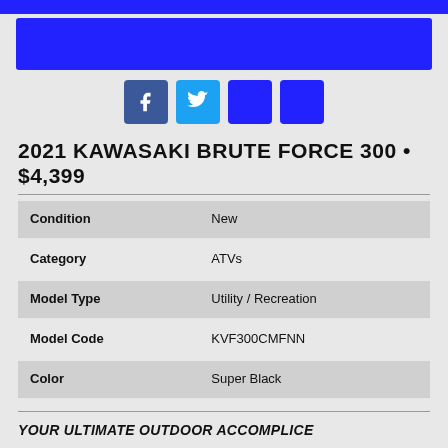[Figure (other): Blue banner/header bar at top of page]
[Figure (other): Social media icons: Facebook, Twitter, LinkedIn, and one more blue icon]
2021 KAWASAKI BRUTE FORCE 300 • $4,399
| Condition | New |
| Category | ATVs |
| Model Type | Utility / Recreation |
| Model Code | KVF300CMFNN |
| Color | Super Black |
YOUR ULTIMATE OUTDOOR ACCOMPLICE